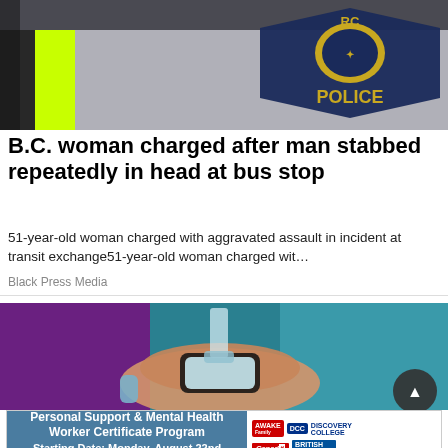[Figure (photo): Close-up of an RCMP police officer uniform showing a yellow-green high-visibility vest and an RCMP badge reading 'POLICE' on a dark background]
B.C. woman charged after man stabbed repeatedly in head at bus stop
51-year-old woman charged with aggravated assault in incident at transit exchange51-year-old woman charged wit…
Black Press Media
[Figure (photo): Close-up of a hand with a wearable device or ring, with liquid or glass element visible, on a purple and teal background]
[Figure (infographic): Advertisement banner for Personal Support & Mental Health Worker Certificate Program starting Monday August 22nd, open to applicants in Prince George, Quesnel, Williams Lake & Smithers BC. Logos include AWAKE, DCC Discovery College, Canada, British Columbia.]